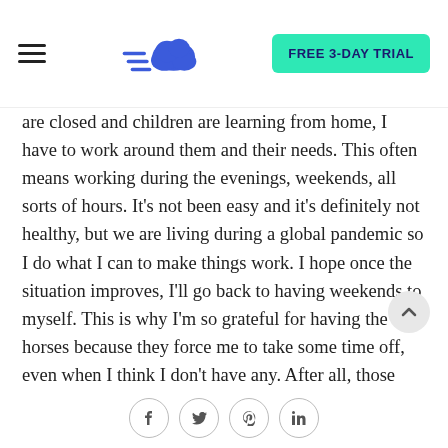FREE 3-DAY TRIAL
are closed and children are learning from home, I have to work around them and their needs. This often means working during the evenings, weekends, all sorts of hours. It's not been easy and it's definitely not healthy, but we are living during a global pandemic so I do what I can to make things work. I hope once the situation improves, I'll go back to having weekends to myself. This is why I'm so grateful for having the horses because they force me to take some time off, even when I think I don't have any. After all, those stables won't muck out themselves!
Shahzeb: Which type of web hosting would you p for your clients or community members? In your opinion, is conventional shared hosting viable for the